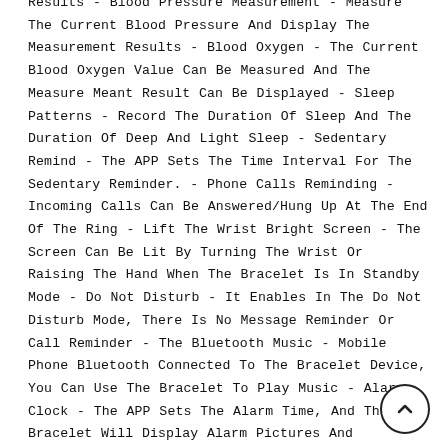Results - Blood Pressure Measurement - Measure The Current Blood Pressure And Display The Measurement Results - Blood Oxygen - The Current Blood Oxygen Value Can Be Measured And The Measure Meant Result Can Be Displayed - Sleep Patterns - Record The Duration Of Sleep And The Duration Of Deep And Light Sleep - Sedentary Remind - The APP Sets The Time Interval For The Sedentary Reminder. - Phone Calls Reminding - Incoming Calls Can Be Answered/Hung Up At The End Of The Ring - Lift The Wrist Bright Screen - The Screen Can Be Lit By Turning The Wrist Or Raising The Hand When The Bracelet Is In Standby Mode - Do Not Disturb - It Enables In The Do Not Disturb Mode, There Is No Message Reminder Or Call Reminder - The Bluetooth Music - Mobile Phone Bluetooth Connected To The Bracelet Device, You Can Use The Bracelet To Play Music - Alarm Clock - The APP Sets The Alarm Time, And The Bracelet Will Display Alarm Pictures And Vibration Reminders After The Time Is Reached -Support Language - Chinese,